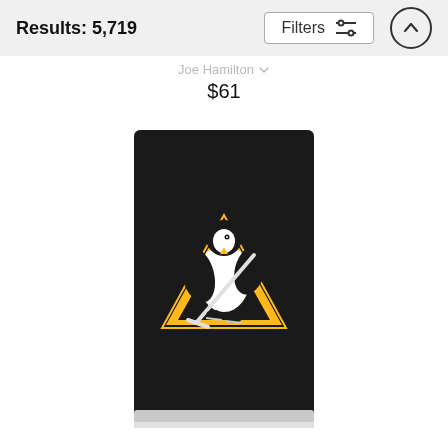Results: 5,719
Joe Hamilton
$61
[Figure (photo): Pittsburgh Penguins hockey jersey displayed vertically, black with the Penguins logo (penguin holding a hockey stick on a gold triangle), with a white/silver stripe at the bottom hem.]